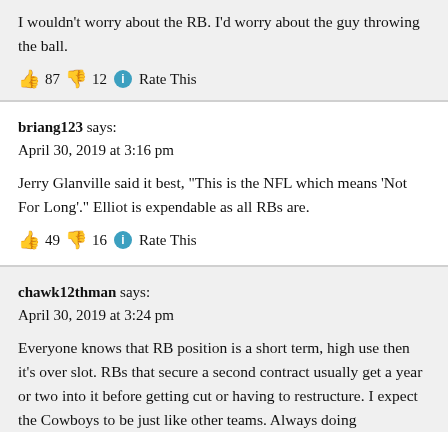I wouldn't worry about the RB. I'd worry about the guy throwing the ball.
👍 87 👎 12 ℹ Rate This
briang123 says:
April 30, 2019 at 3:16 pm
Jerry Glanville said it best, "This is the NFL which means 'Not For Long'." Elliot is expendable as all RBs are.
👍 49 👎 16 ℹ Rate This
chawk12thman says:
April 30, 2019 at 3:24 pm
Everyone knows that RB position is a short term, high use then it's over slot. RBs that secure a second contract usually get a year or two into it before getting cut or having to restructure. I expect the Cowboys to be just like other teams. Always doing...